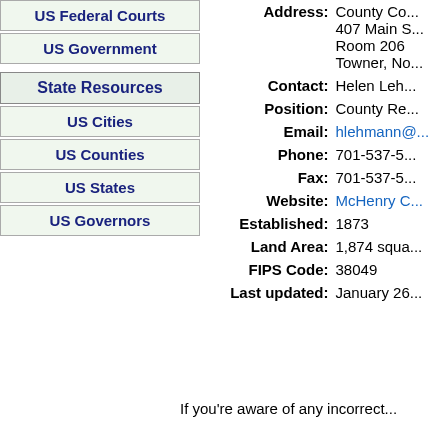US Federal Courts
US Government
State Resources
US Cities
US Counties
US States
US Governors
Address: County Co... 407 Main S... Room 206 Towner, No...
Contact: Helen Leh...
Position: County Re...
Email: hlehmann@...
Phone: 701-537-5...
Fax: 701-537-5...
Website: McHenry C...
Established: 1873
Land Area: 1,874 squa...
FIPS Code: 38049
Last updated: January 26...
If you're aware of any incorrect...